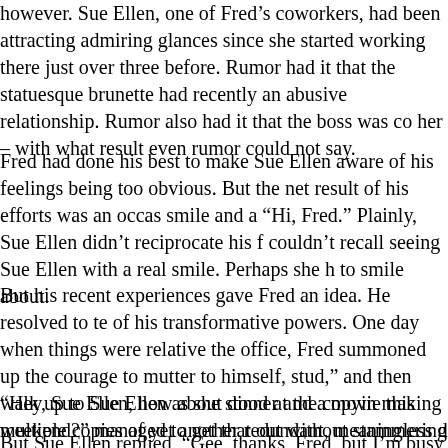however. Sue Ellen, one of Fred's coworkers, had been attracting admiring glances since she started working there just over three before. Rumor had it that the statuesque brunette had recently an abusive relationship. Rumor also had it that the boss was her – with what result even rumor could not say.
Fred had done his best to make Sue Ellen aware of his feelings being too obvious. But the net result of his efforts was an occasional smile and a “Hi, Fred.” Plainly, Sue Ellen didn’t reciprocate his feelings. couldn’t recall seeing Sue Ellen with a real smile. Perhaps she had nothing to smile about.
But his recent experiences gave Fred an idea. He resolved to tell of his transformative powers. One day when things were relatively quiet in the office, Fred summoned up the courage to mutter to himself, “I’m a stud,” and then walk up to Sue Ellen as she stood at the copying machine, making multiple copies of yet another redundant, meaningless document.
“Hey, Sue Ellen, how about dinner and a movie this weekend?” He managed to get that out without stammering or otherwise making a mess of things.
But Sue Ellen replied, “Gee, thanks, Fred, but I’m busy this weekend.”